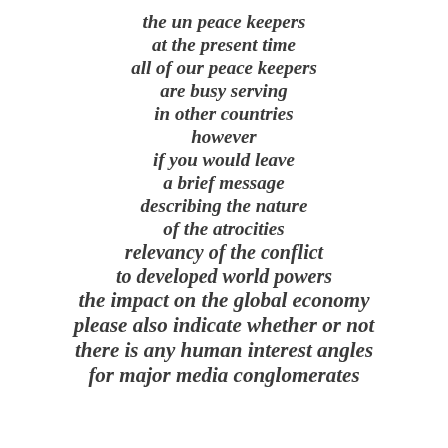the un peace keepers
at the present time
all of our peace keepers
are busy serving
in other countries
however
if you would leave
a brief message
describing the nature
of the atrocities
relevancy of the conflict
to developed world powers
the impact on the global economy
please also indicate whether or not
there is any human interest angles
for major media conglomerates